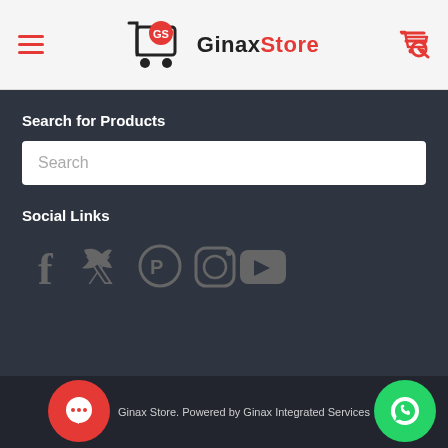[Figure (logo): Ginax Store logo with shopping cart icon and red GS badge, text 'Ginax Store' with black 'Ginax' and red 'Store']
Search for Products
Search
Social Links
[Figure (illustration): Social media icons: Facebook, Twitter, Pinterest, Instagram, YouTube in gray]
Ginax Store. Powered by Ginax Integrated Services Li